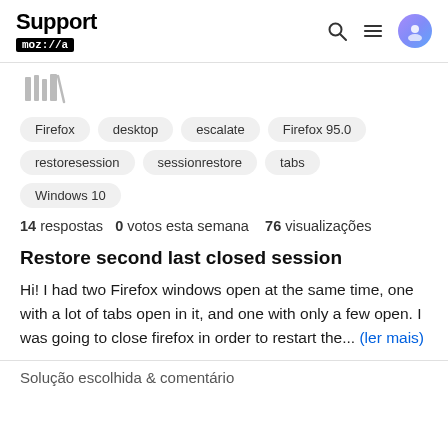Support moz://a
[Figure (illustration): Library/bookmark icon in light gray]
Firefox
desktop
escalate
Firefox 95.0
restoresession
sessionrestore
tabs
Windows 10
14 respostas  0 votos esta semana  76 visualizações
Restore second last closed session
Hi! I had two Firefox windows open at the same time, one with a lot of tabs open in it, and one with only a few open. I was going to close firefox in order to restart the... (ler mais)
Solução escolhida & comentário